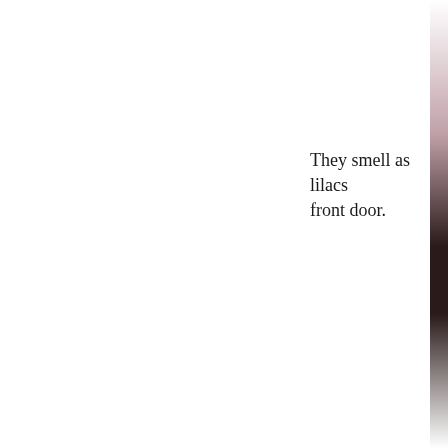They smell as lilacs front door.